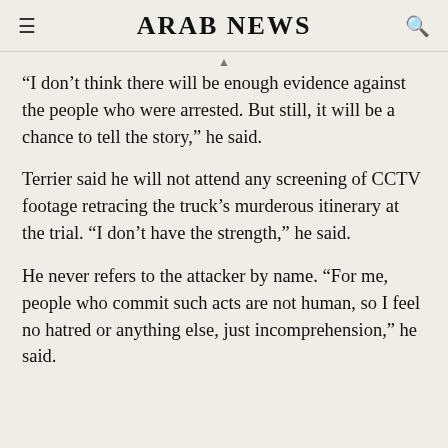ARAB NEWS
“I don’t think there will be enough evidence against the people who were arrested. But still, it will be a chance to tell the story,” he said.
Terrier said he will not attend any screening of CCTV footage retracing the truck’s murderous itinerary at the trial. “I don’t have the strength,” he said.
He never refers to the attacker by name. “For me, people who commit such acts are not human, so I feel no hatred or anything else, just incomprehension,” he said.